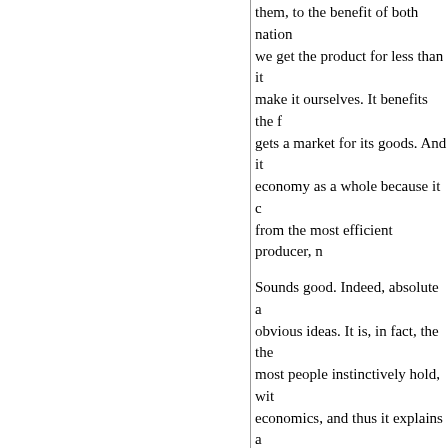them, to the benefit of both nation— we get the product for less than it— make it ourselves. It benefits the f— gets a market for its goods. And it— economy as a whole because it c— from the most efficient producer, n—
Sounds good. Indeed, absolute a— obvious ideas. It is, in fact, the the— most people instinctively hold, wit— economics, and thus it explains a— opinion on the subject. It sounds l— application of basic capitalist prin— trade the great Adam Smith himse— economics, believed in.
It is also false. Under free trade, A— imports products of which we are — producer—which makes no sense— absolute advantage. This causes — conservative commentator Patrick—
Ricardo's theory...demands that n— advanced countries give up indus— producers in less advanced natio— more efficient than U.S. factories?— Great Betrayal, p. 67.)